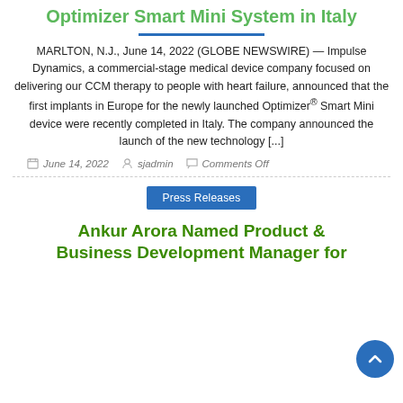Optimizer Smart Mini System in Italy
MARLTON, N.J., June 14, 2022 (GLOBE NEWSWIRE) — Impulse Dynamics, a commercial-stage medical device company focused on delivering our CCM therapy to people with heart failure, announced that the first implants in Europe for the newly launched Optimizer® Smart Mini device were recently completed in Italy. The company announced the launch of the new technology [...]
June 14, 2022  sjadmin  Comments Off
Press Releases
Ankur Arora Named Product & Business Development Manager for